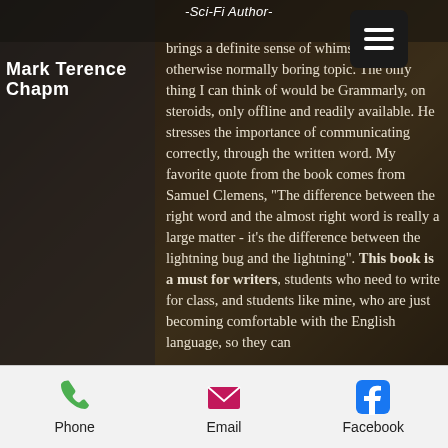-Sci-Fi Author-
Mark Terence Chapm
brings a definite sense of whimsy to an otherwise normally boring topic. The only thing I can think of would be Grammarly, on steroids, only offline and readily available. He stresses the importance of communicating correctly, through the written word. My favorite quote from the book comes from Samuel Clemens, "The difference between the right word and the almost right word is really a large matter - it's the difference between the lightning bug and the lightning". This book is a must for writers, students who need to write for class, and students like mine, who are just becoming comfortable with the English language, so they can
Phone   Email   Facebook